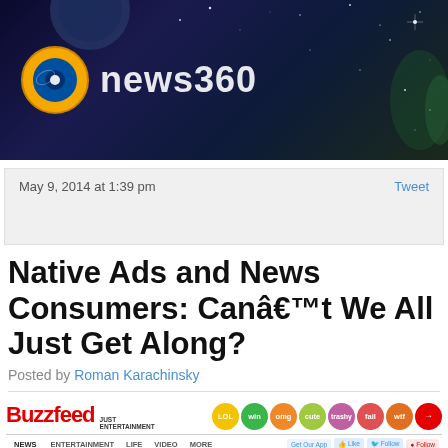[Figure (logo): news360 app banner with logo on dark space/galaxy background]
May 9, 2014 at 1:39 pm
Tweet
Native Ads and News Consumers: Canâ€™t We All Just Get Along?
Posted by Roman Karachinsky
[Figure (screenshot): BuzzFeed website screenshot showing logo, tag bubbles (LOL, win, omg, cute, trashy, fail, wtf), navigation bar, and thumbnail images row]